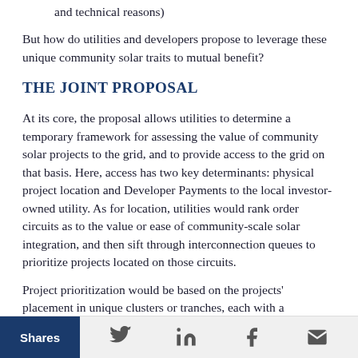and technical reasons)
But how do utilities and developers propose to leverage these unique community solar traits to mutual benefit?
THE JOINT PROPOSAL
At its core, the proposal allows utilities to determine a temporary framework for assessing the value of community solar projects to the grid, and to provide access to the grid on that basis. Here, access has two key determinants: physical project location and Developer Payments to the local investor-owned utility. As for location, utilities would rank order circuits as to the value or ease of community-scale solar integration, and then sift through interconnection queues to prioritize projects located on those circuits.
Project prioritization would be based on the projects' placement in unique clusters or tranches, each with a
Shares